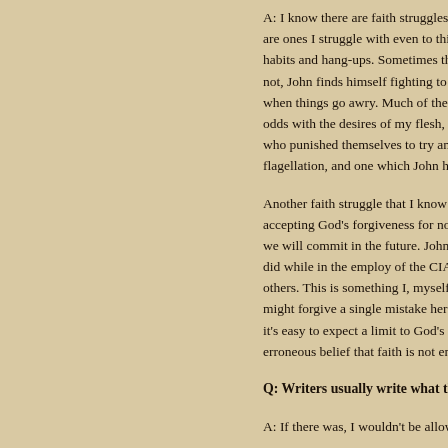A: I know there are faith struggles John faces that readers are ones I struggle with even to this day! For one, John ca habits and hang-ups. Sometimes those habits can be used not, John finds himself fighting to walk in faith and love a when things go awry. Much of the Christian life is about r odds with the desires of my flesh, and at times, I have sy who punished themselves to try and defeat their own imp flagellation, and one which John has adapted in his own w
Another faith struggle that I know many readers can iden accepting God's forgiveness for not only the sins we've c we will commit in the future. John struggles to believe Go did while in the employ of the CIA, and that affects his ab others. This is something I, myself, have also found diffic might forgive a single mistake here and there, but after fa it's easy to expect a limit to God's forgiveness. That's wh erroneous belief that faith is not enough, and we must wo
Q: Writers usually write what they know. Is there any
A: If there was, I wouldn't be allowed to tell you. Just kid